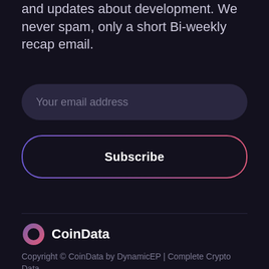and updates about development. We never spam, only a short Bi-weekly recap email.
[Figure (other): Email address input field with rounded pill shape and dark background]
[Figure (other): Subscribe button with gradient border (purple to pink) and dark fill]
[Figure (logo): CoinData logo: circular gradient icon (purple to pink) with letter O, followed by bold white text CoinData]
Copyright © CoinData by DynamicEP | Complete Crypto Data